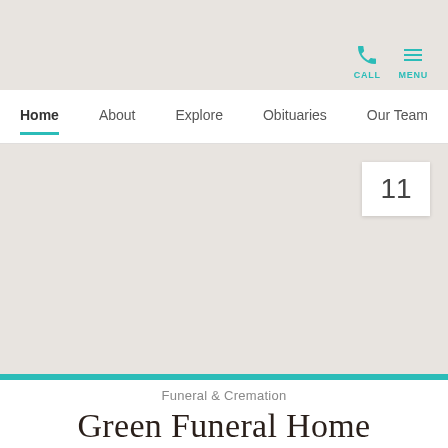CALL  MENU
Home  About  Explore  Obituaries  Our Team
[Figure (map): A beige/tan map background with a number badge showing '11' in the upper right corner of the map area.]
Funeral & Cremation
Green Funeral Home
4.8 ★★★★★ 405